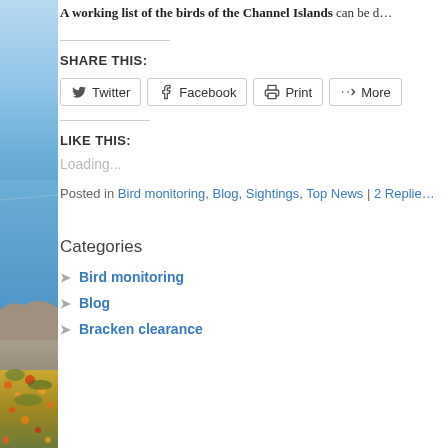[Figure (photo): Sidebar photo of a coastal scene with blue sea/sky and rocky shore with vegetation]
A working list of the birds of the Channel Islands can be d…
SHARE THIS:
Twitter | Facebook | Print | More (share buttons)
LIKE THIS:
Loading...
Posted in Bird monitoring, Blog, Sightings, Top News | 2 Replie…
Categories
Bird monitoring
Blog
Bracken clearance